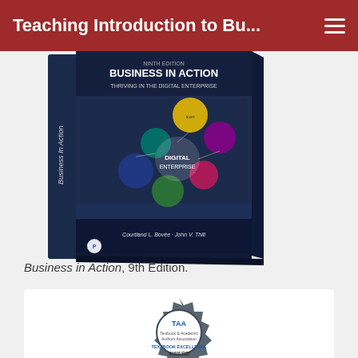Teaching Introduction to Bu...
[Figure (photo): Book cover of Business in Action, 9th Edition, showing a 3D book with colorful circular icons and people in a business setting]
Business in Action, 9th Edition.
[Figure (logo): TAA Textbook Excellence Award Winner badge/seal in gray and blue]
Winner of the Textbook & Academic Authors Association TEXTBOOK EXCELLENCE AWARD